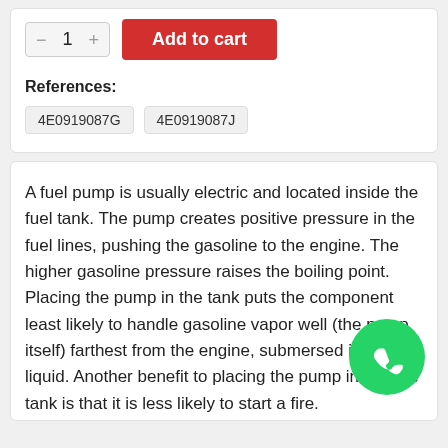[Figure (other): Add to cart UI with quantity selector showing minus button, 1, plus button, and a red Add to cart button]
References:
4E0919087G   4E0919087J
A fuel pump is usually electric and located inside the fuel tank. The pump creates positive pressure in the fuel lines, pushing the gasoline to the engine. The higher gasoline pressure raises the boiling point. Placing the pump in the tank puts the component least likely to handle gasoline vapor well (the pump itself) farthest from the engine, submersed in cool liquid. Another benefit to placing the pump inside the tank is that it is less likely to start a fire.
[Figure (logo): WhatsApp green circle icon with phone handset]
The pump is also part of a system of fuel...